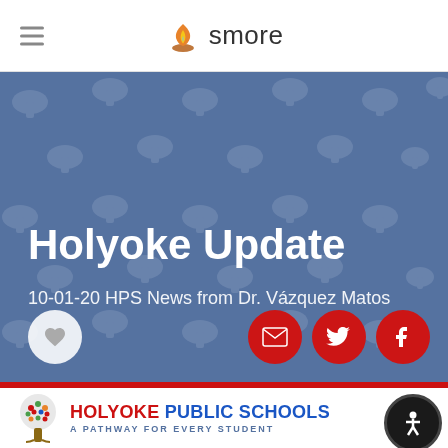smore
Holyoke Update
10-01-20 HPS News from Dr. Vázquez Matos
[Figure (logo): Holyoke Public Schools logo with tree icon and tagline A PATHWAY FOR EVERY STUDENT]